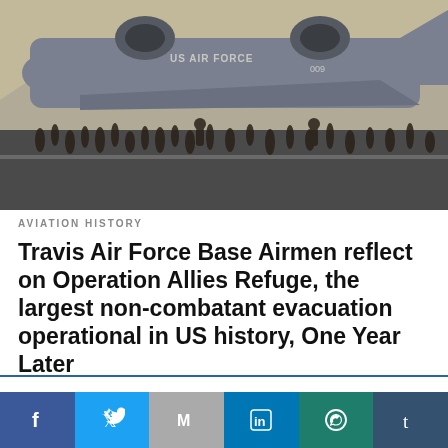[Figure (photo): Crowd of people running on an airfield tarmac next to a large US Air Force military transport aircraft (C-17 Globemaster), with mountains visible in the background. Scene from Kabul airport during the Afghanistan evacuation.]
AVIATION HISTORY
Travis Air Force Base Airmen reflect on Operation Allies Refuge, the largest non-combatant evacuation operational in US history, One Year Later
This website uses cookies.
Accept